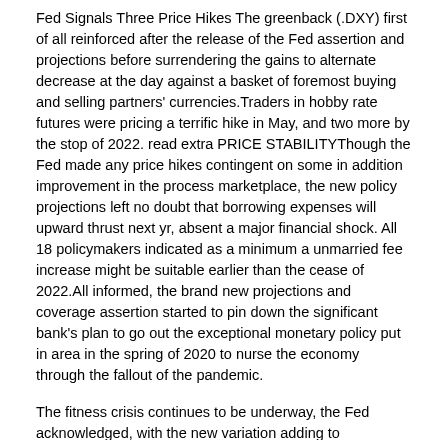Fed Signals Three Price Hikes The greenback (.DXY) first of all reinforced after the release of the Fed assertion and projections before surrendering the gains to alternate decrease at the day against a basket of foremost buying and selling partners' currencies.Traders in hobby rate futures were pricing a terrific hike in May, and two more by the stop of 2022. read extra PRICE STABILITYThough the Fed made any price hikes contingent on some in addition improvement in the process marketplace, the new policy projections left no doubt that borrowing expenses will upward thrust next yr, absent a major financial shock. All 18 policymakers indicated as a minimum a unmarried fee increase might be suitable earlier than the cease of 2022.All informed, the brand new projections and coverage assertion started to pin down the significant bank's plan to go out the exceptional monetary policy put in area in the spring of 2020 to nurse the economy through the fallout of the pandemic.
The fitness crisis continues to be underway, the Fed acknowledged, with the new variation adding to uncertainty about the path of the economy.Powell, as an example, informed reporters that he would like to know how the U.S. labor market will function after people are freed from healthcare, childcare and other pandemic worries, but "it does not seem like that is coming whenever quickly."Yet he additionally downplayed Omicron's capability economic dangers, pronouncing he did not expect the Fed could should resume emergency bond purchases or take different steps to counter any sparkling COVID-19 wave, and that financial overall performance could be much less and much less stimulated by the pace of coronavirus infections.Fed officers